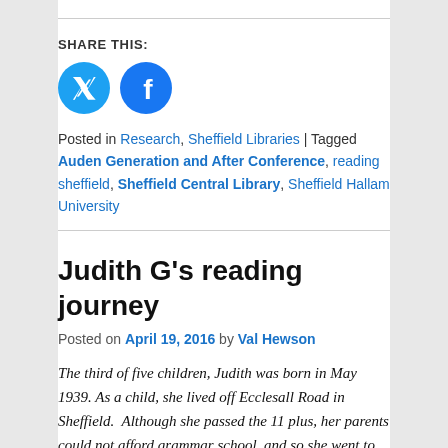SHARE THIS:
[Figure (illustration): Twitter and Facebook social media icon circles — Twitter icon (blue circle with bird) and Facebook icon (blue circle with f logo)]
Posted in Research, Sheffield Libraries | Tagged Auden Generation and After Conference, reading sheffield, Sheffield Central Library, Sheffield Hallam University
Judith G's reading journey
Posted on April 19, 2016 by Val Hewson
The third of five children, Judith was born in May 1939. As a child, she lived off Ecclesall Road in Sheffield.  Although she passed the 11 plus, her parents could not afford grammar school, and so she went to Greystones Secondary School and left after O Levels.  Judith tells tw…